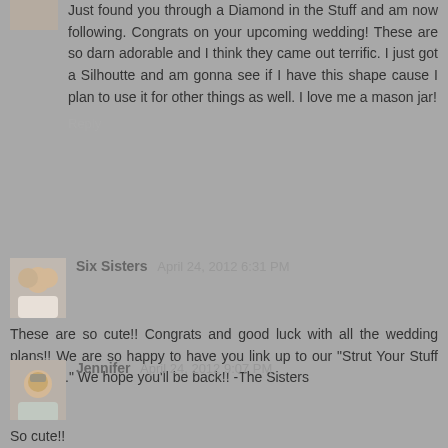Just found you through a Diamond in the Stuff and am now following. Congrats on your upcoming wedding! These are so darn adorable and I think they came out terrific. I just got a Silhoutte and am gonna see if I have this shape cause I plan to use it for other things as well. I love me a mason jar!
Reply
Six Sisters  April 24, 2012 6:31 PM
These are so cute!! Congrats and good luck with all the wedding plans!! We are so happy to have you link up to our "Strut Your Stuff Saturday." We hope you'll be back!! -The Sisters
Reply
Jennifer  April 24, 2012 9:07 PM
So cute!!
Reply